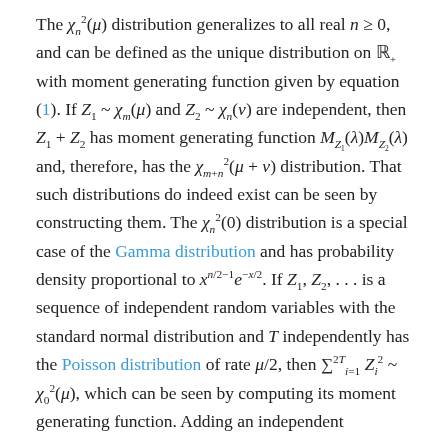The χ²_n(μ) distribution generalizes to all real n ≥ 0, and can be defined as the unique distribution on ℝ₊ with moment generating function given by equation (1). If Z₁ ~ χ_m(μ) and Z₂ ~ χ_n(ν) are independent, then Z₁ + Z₂ has moment generating function M_{Z₁}(λ)M_{Z₂}(λ) and, therefore, has the χ²_{m+n}(μ + ν) distribution. That such distributions do indeed exist can be seen by constructing them. The χ²_n(0) distribution is a special case of the Gamma distribution and has probability density proportional to x^{n/2−1}e^{−x/2}. If Z₁, Z₂, ... is a sequence of independent random variables with the standard normal distribution and T independently has the Poisson distribution of rate μ/2, then Σ^{2T}_{i=1} Z²_i ~ χ²_0(μ), which can be seen by computing its moment generating function. Adding an independent